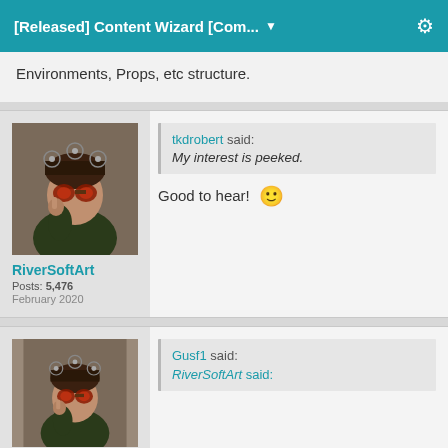[Released] Content Wizard [Com... ▼
Environments, Props, etc structure.
RiverSoftArt
Posts: 5,476
February 2020
tkdrobert said: My interest is peeked.
Good to hear! 🙂
Gusf1 said:
RiverSoftArt said: